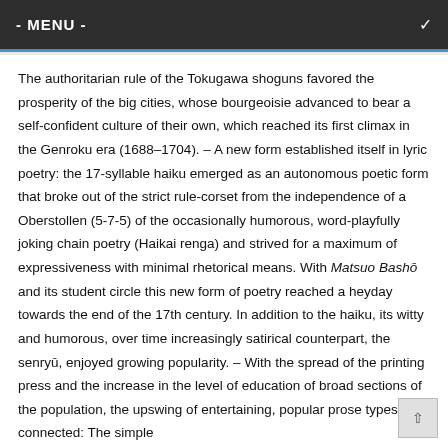- MENU -
The authoritarian rule of the Tokugawa shoguns favored the prosperity of the big cities, whose bourgeoisie advanced to bear a self-confident culture of their own, which reached its first climax in the Genroku era (1688–1704). – A new form established itself in lyric poetry: the 17-syllable haiku emerged as an autonomous poetic form that broke out of the strict rule-corset from the independence of a Oberstollen (5-7-5) of the occasionally humorous, word-playfully joking chain poetry (Haikai renga) and strived for a maximum of expressiveness with minimal rhetorical means. With Matsuo Bashō and its student circle this new form of poetry reached a heyday towards the end of the 17th century. In addition to the haiku, its witty and humorous, over time increasingly satirical counterpart, the senryū, enjoyed growing popularity. – With the spread of the printing press and the increase in the level of education of broad sections of the population, the upswing of entertaining, popular prose types was connected: The simple